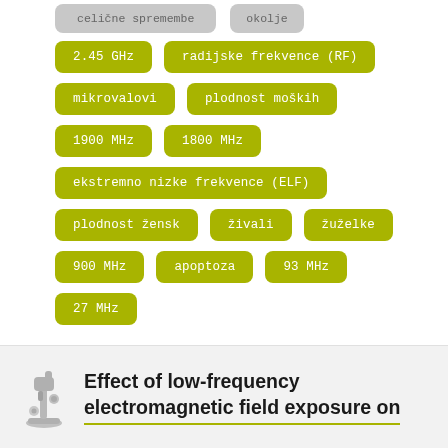[Figure (infographic): Tag cloud of scientific/technical keyword tags in yellow-green rounded rectangles, with partial grey tags at top cut off: 'celične spremembe' and 'okolje'. Full tags include: 2.45 GHz, radijske frekvence (RF), mikrovalovi, plodnost moških, 1900 MHz, 1800 MHz, ekstremno nizke frekvence (ELF), plodnost žensk, živali, žuželke, 900 MHz, apoptoza, 93 MHz, 27 MHz]
[Figure (illustration): Microscope icon in grey]
Effect of low-frequency electromagnetic field exposure on